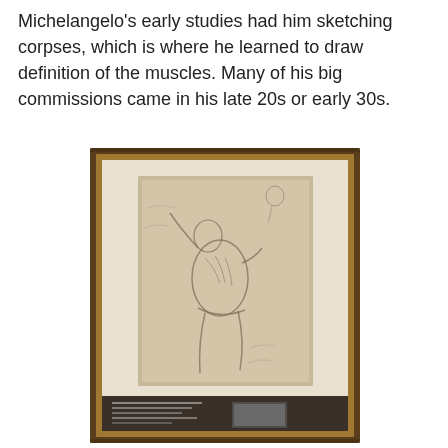Michelangelo's early studies had him sketching corpses, which is where he learned to draw definition of the muscles. Many of his big commissions came in his late 20s or early 30s.
[Figure (photo): A framed Michelangelo sketch/drawing displayed in a wooden gold-trimmed frame. The drawing depicts a muscular figure in dynamic pose (likely a study of a human body). The frame sits on a surface and below the drawing is a small placard/label. The background shows ornate painted walls.]